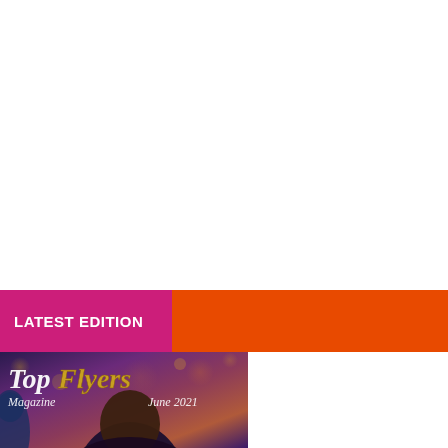LATEST EDITION
[Figure (illustration): TopFlyers Magazine cover, June 2021 edition. Shows the magazine title 'TopFlyers' in large stylized white and gold text with 'Magazine' and 'June 2021' in italic below. Background is dark purple/maroon with bokeh lights. A person's head and shoulders visible in foreground.]